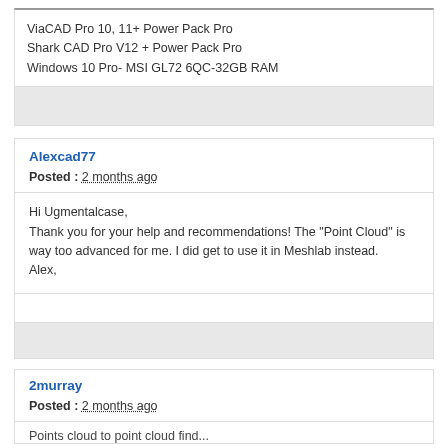ViaCAD Pro 10, 11+ Power Pack Pro
Shark CAD Pro V12 + Power Pack Pro
Windows 10 Pro- MSI GL72 6QC-32GB RAM
Alexcad77
Posted : 2 months ago
Hi Ugmentalcase,
Thank you for your help and recommendations! The "Point Cloud" is way too advanced for me. I did get to use it in Meshlab instead.
Alex,
2murray
Posted : 2 months ago
Points cloud to point cloud find...